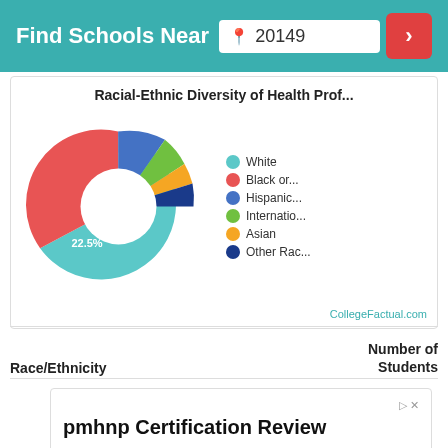Find Schools Near 20149
Racial-Ethnic Diversity of Health Prof...
[Figure (donut-chart): Racial-Ethnic Diversity of Health Prof...]
CollegeFactual.com
| Race/Ethnicity | Number of Students |
| --- | --- |
pmhnp Certification Review
NP Certification Academy supports students in passing their pmhnp Certification Exams
npcertificationacademy.com    Learn More